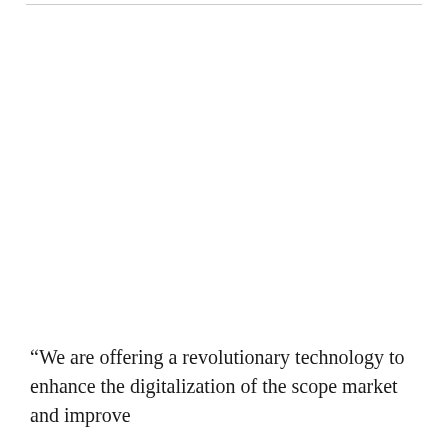“We are offering a revolutionary technology to enhance the digitalization of the scope market and improve